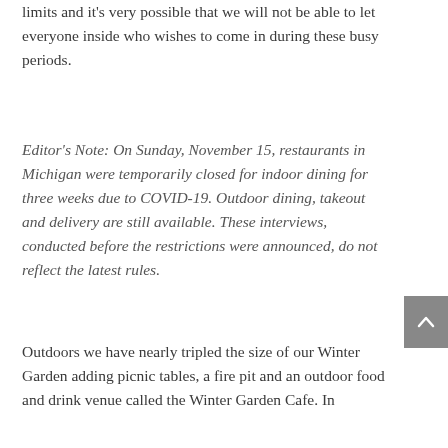limits and it's very possible that we will not be able to let everyone inside who wishes to come in during these busy periods.
Editor's Note: On Sunday, November 15, restaurants in Michigan were temporarily closed for indoor dining for three weeks due to COVID-19. Outdoor dining, takeout and delivery are still available. These interviews, conducted before the restrictions were announced, do not reflect the latest rules.
Outdoors we have nearly tripled the size of our Winter Garden adding picnic tables, a fire pit and an outdoor food and drink venue called the Winter Garden Cafe. In